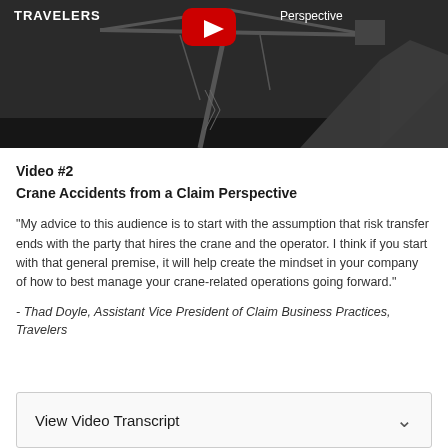[Figure (screenshot): Video thumbnail showing a dark/black-and-white image of a construction crane against a dark sky. Overlaid text shows 'TRAVELERS' on the upper left and 'Perspective' on the upper right, with a red YouTube play button in the center top area.]
Video #2
Crane Accidents from a Claim Perspective
“My advice to this audience is to start with the assumption that risk transfer ends with the party that hires the crane and the operator. I think if you start with that general premise, it will help create the mindset in your company of how to best manage your crane-related operations going forward.”
- Thad Doyle, Assistant Vice President of Claim Business Practices, Travelers
View Video Transcript